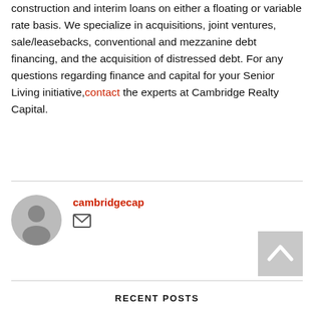construction and interim loans on either a floating or variable rate basis. We specialize in acquisitions, joint ventures, sale/leasebacks, conventional and mezzanine debt financing, and the acquisition of distressed debt. For any questions regarding finance and capital for your Senior Living initiative, contact the experts at Cambridge Realty Capital.
cambridgecap
[Figure (illustration): Circular gray avatar icon with a generic person silhouette]
[Figure (illustration): Email envelope icon]
[Figure (illustration): Gray scroll-to-top button with upward chevron arrow]
RECENT POSTS